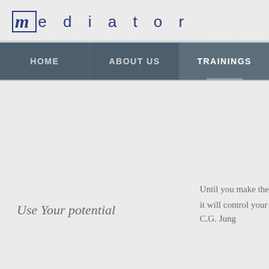Mediator
HOME | ABOUT US | TRAININGS
Use Your potential
Until you make the unconscious conscious, it will control your life. C.G. Jung